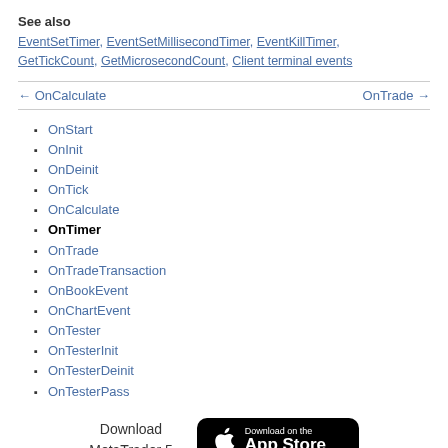See also
EventSetTimer, EventSetMillisecondTimer, EventKillTimer, GetTickCount, GetMicrosecondCount, Client terminal events
← OnCalculate    OnTrade →
OnStart
OnInit
OnDeinit
OnTick
OnCalculate
OnTimer
OnTrade
OnTradeTransaction
OnBookEvent
OnChartEvent
OnTester
OnTesterInit
OnTesterDeinit
OnTesterPass
[Figure (logo): Download on the App Store button (Apple App Store badge)]
Download MetaTrader 5